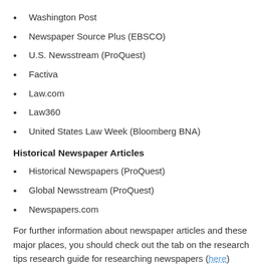Washington Post
Newspaper Source Plus (EBSCO)
U.S. Newsstream (ProQuest)
Factiva
Law.com
Law360
United States Law Week (Bloomberg BNA)
Historical Newspaper Articles
Historical Newspapers (ProQuest)
Global Newsstream (ProQuest)
Newspapers.com
For further information about newspaper articles and these major places, you should check out the tab on the research tips research guide for researching newspapers (here) and/or